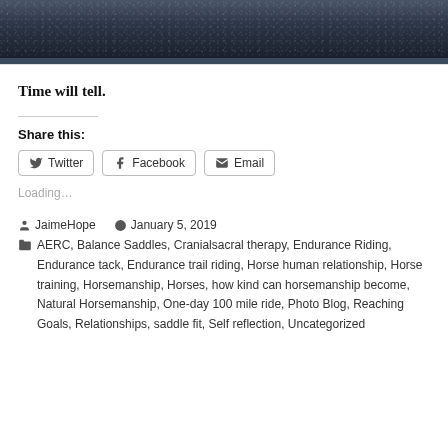[Figure (photo): Top portion of a photo showing a dark gravel or asphalt surface with scattered light-colored speckles, appearing to be a night or low-light outdoor scene.]
Time will tell.
Share this:
Loading…
JaimeHope   January 5, 2019
AERC, Balance Saddles, Cranialsacral therapy, Endurance Riding, Endurance tack, Endurance trail riding, Horse human relationship, Horse training, Horsemanship, Horses, how kind can horsemanship become, Natural Horsemanship, One-day 100 mile ride, Photo Blog, Reaching Goals, Relationships, saddle fit, Self reflection, Uncategorized